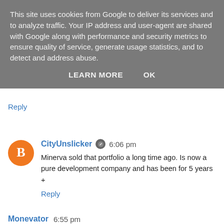This site uses cookies from Google to deliver its services and to analyze traffic. Your IP address and user-agent are shared with Google along with performance and security metrics to ensure quality of service, generate usage statistics, and to detect and address abuse.
LEARN MORE   OK
Reply
CityUnslicker  6:06 pm
Minerva sold that portfolio a long time ago. Is now a pure development company and has been for 5 years +
Reply
Monevator  6:55 pm
Thanks for that CityUnslicker.
Now here, but relishing exploring a UK focused investing